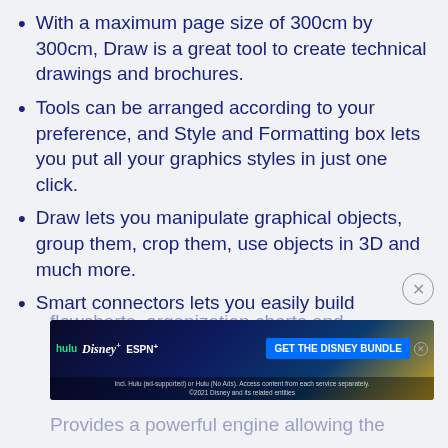With a maximum page size of 300cm by 300cm, Draw is a great tool to create technical drawings and brochures.
Tools can be arranged according to your preference, and Style and Formatting box lets you put all your graphics styles in just one click.
Draw lets you manipulate graphical objects, group them, crop them, use objects in 3D and much more.
Smart connectors lets you easily build
flowcharts, organization charts and
[Figure (other): Advertisement banner for Hulu, Disney+ and ESPN+ Disney Bundle]
Provides a powerful engine allowing the